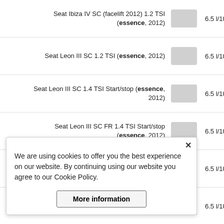Seat Ibiza IV SC (facelift 2012) 1.2 TSI (essence, 2012) — 6.5 l/100km / 36.19 ...
Seat Leon III SC 1.2 TSI (essence, 2012) — 6.5 l/100km / 36.19 ...
Seat Leon III SC 1.4 TSI Start/stop (essence, 2012) — 6.5 l/100km / 36.19 ...
Seat Leon III SC FR 1.4 TSI Start/stop (essence, 2012) — 6.5 l/100km / 36.19 ...
Seat Ibiza IV ST (facelift 2012) 1.2 TSI (essence, 2012) — 6.5 l/100km / 36.19 ...
Seat Leon III ST 1.2 TSI (essence, 2014) — 6.5 l/100km / 36.19 ...
Seat Ibiza IV (facelift 2012) 1.2 TSI (essence, 2012) — 6.5 l/100km / 36.19 ...
Comparaison avec d'autres modèles de
de la Seat Toledo IV en ville similaire et d'une
We are using cookies to offer you the best experience on our website. By continuing using our website you agree to our Cookie Policy.